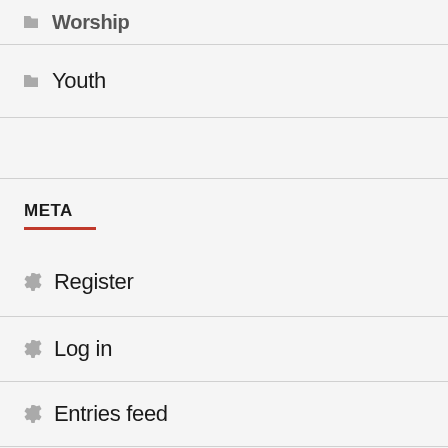Worship
Youth
META
Register
Log in
Entries feed
Comments feed
WordPress.com